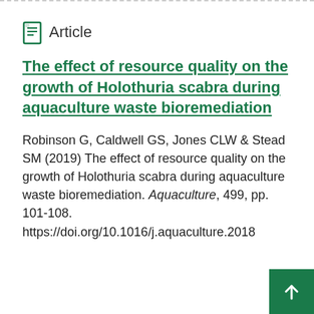Article
The effect of resource quality on the growth of Holothuria scabra during aquaculture waste bioremediation
Robinson G, Caldwell GS, Jones CLW & Stead SM (2019) The effect of resource quality on the growth of Holothuria scabra during aquaculture waste bioremediation. Aquaculture, 499, pp. 101-108. https://doi.org/10.1016/j.aquaculture.2018.09.034